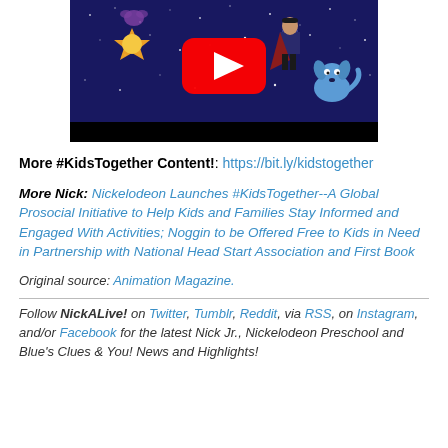[Figure (screenshot): YouTube video thumbnail showing Blue's Clues & You! animated characters on a dark starry background with a sun and a boy in a cape and Blue the dog, with a YouTube play button overlay]
More #KidsTogether Content!: https://bit.ly/kidstogether
More Nick: Nickelodeon Launches #KidsTogether--A Global Prosocial Initiative to Help Kids and Families Stay Informed and Engaged With Activities; Noggin to be Offered Free to Kids in Need in Partnership with National Head Start Association and First Book
Original source: Animation Magazine.
Follow NickALive! on Twitter, Tumblr, Reddit, via RSS, on Instagram, and/or Facebook for the latest Nick Jr., Nickelodeon Preschool and Blue's Clues & You! News and Highlights!